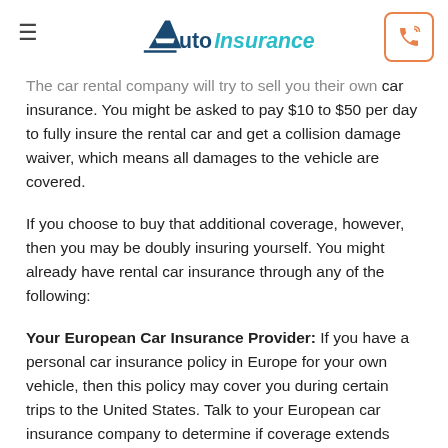AutoInsuranceQuote
The car rental company will try to sell you their own car insurance. You might be asked to pay $10 to $50 per day to fully insure the rental car and get a collision damage waiver, which means all damages to the vehicle are covered.
If you choose to buy that additional coverage, however, then you may be doubly insuring yourself. You might already have rental car insurance through any of the following:
Your European Car Insurance Provider: If you have a personal car insurance policy in Europe for your own vehicle, then this policy may cover you during certain trips to the United States. Talk to your European car insurance company to determine if coverage extends